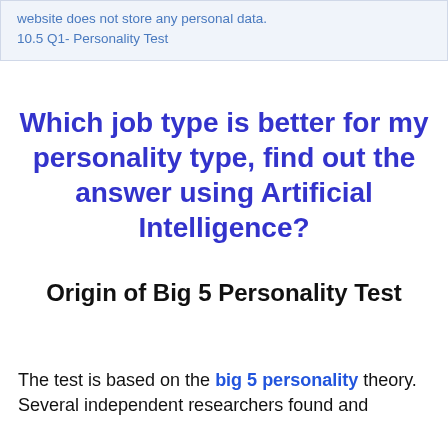website does not store any personal data.
10.5 Q1- Personality Test
Which job type is better for my personality type, find out the answer using Artificial Intelligence?
Origin of Big 5 Personality Test
The test is based on the big 5 personality theory. Several independent researchers found and